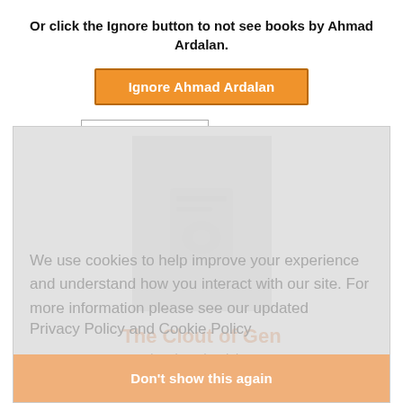Or click the Ignore button to not see books by Ahmad Ardalan.
[Figure (other): Orange button labeled 'Ignore Ahmad Ardalan']
Sort by: Default
[Figure (other): Book card with cookie consent overlay. Cookie text: 'We use cookies to help improve your experience and understand how you interact with our site. For more information please see our updated Privacy Policy and Cookie Policy'. Button: 'Don't show this again'. Book title: 'The Clout of Gen', author: 'by Ahmad Ardalan'. Description begins: 'The Clout of Gen is a conspiracy mystery fiction set in Kyoto,']